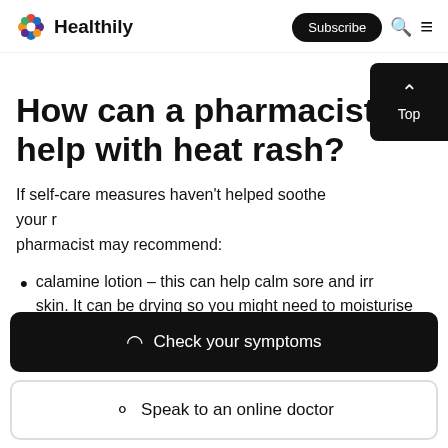Healthily — Subscribe
How can a pharmacist help with heat rash?
If self-care measures haven't helped soothe your rash, a pharmacist may recommend:
calamine lotion – this can help calm sore and irritated skin. It can be drying so you might need to moisturise your skin as well. The pharmacist can recommend one that won't block pores
Check your symptoms
Speak to an online doctor